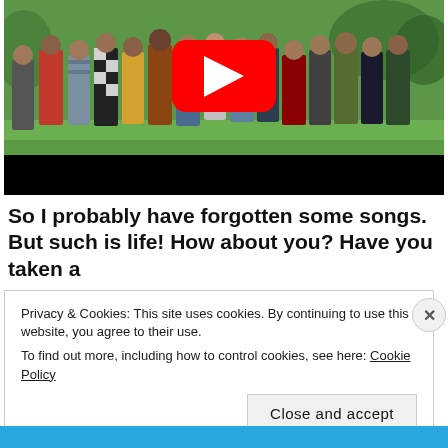[Figure (screenshot): YouTube video thumbnail showing a group of people standing on a golf course green, with a YouTube play button overlay in the center. The lower portion of the thumbnail has a black bar.]
So I probably have forgotten some songs. But such is life! How about you? Have you taken a
Privacy & Cookies: This site uses cookies. By continuing to use this website, you agree to their use.
To find out more, including how to control cookies, see here: Cookie Policy
Close and accept